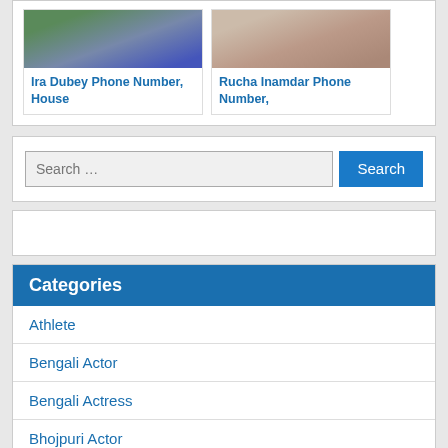[Figure (photo): Photo of Ira Dubey with link text 'Ira Dubey Phone Number, House']
[Figure (photo): Photo of Rucha Inamdar with link text 'Rucha Inamdar Phone Number,']
Search …
Categories
Athlete
Bengali Actor
Bengali Actress
Bhojpuri Actor
Bhojpuri Actress
Bollywood Actor